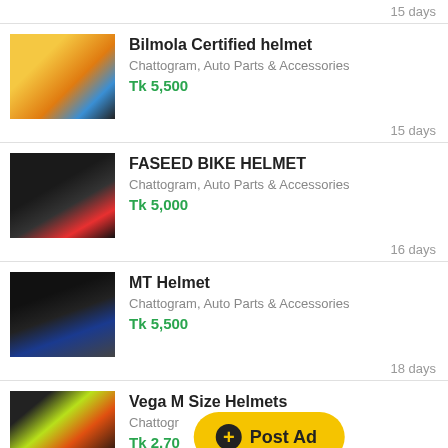15 days
[Figure (photo): Colorful motorcycle helmet with artistic design]
Bilmola Certified helmet
Chattogram, Auto Parts & Accessories
Tk 5,500
15 days
[Figure (photo): Black motorcycle helmet shown from rear/side]
FASEED BIKE HELMET
Chattogram, Auto Parts & Accessories
Tk 5,000
16 days
[Figure (photo): Black and blue MT motorcycle helmet]
MT Helmet
Chattogram, Auto Parts & Accessories
Tk 5,500
18 days
[Figure (photo): Yellow and black Vega motorcycle helmet]
Vega M Size Helmets
Chattogram, Auto Parts & Accessories
Tk 2,70...
19 days